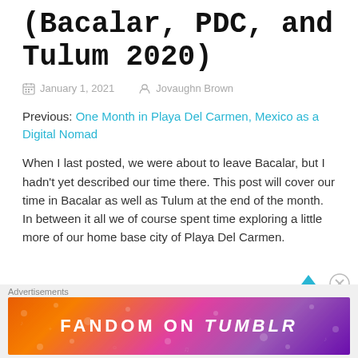(Bacalar, PDC, and Tulum 2020)
January 1, 2021   Jovaughn Brown
Previous: One Month in Playa Del Carmen, Mexico as a Digital Nomad
When I last posted, we were about to leave Bacalar, but I hadn't yet described our time there. This post will cover our time in Bacalar as well as Tulum at the end of the month. In between it all we of course spent time exploring a little more of our home base city of Playa Del Carmen.
Advertisements
[Figure (other): FANDOM ON tumblr advertisement banner with colorful gradient background]